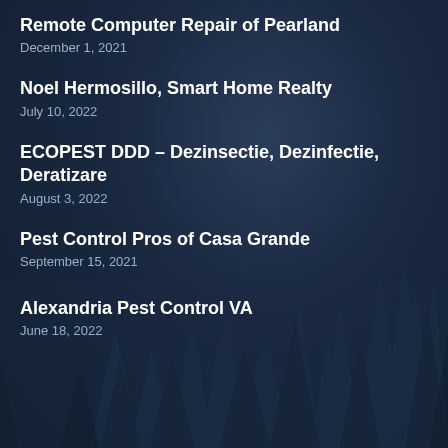Remote Computer Repair of Pearland
December 1, 2021
Noel Hermosillo, Smart Home Realty
July 10, 2022
ECOPEST DDD – Dezinsectie, Dezinfectie, Deratizare
August 3, 2022
Pest Control Pros of Casa Grande
September 15, 2021
Alexandria Pest Control VA
June 18, 2022